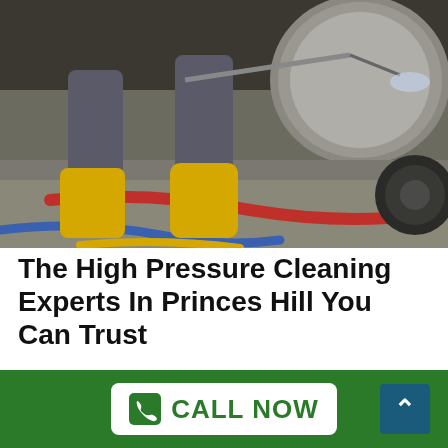[Figure (photo): Worker in yellow rubber boots and grey work pants using high pressure cleaning equipment with red and blue hoses on a concrete surface near industrial machinery.]
The High Pressure Cleaning Experts In Princes Hill You Can Trust
Pressure Cleaning Princes Hill is the highest rated, expert pressure cleaning & exterior home washing company in Princes Hill. We service all suburbs
CALL NOW